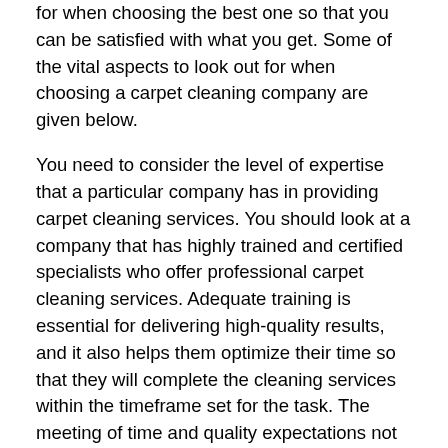for when choosing the best one so that you can be satisfied with what you get. Some of the vital aspects to look out for when choosing a carpet cleaning company are given below.
You need to consider the level of expertise that a particular company has in providing carpet cleaning services. You should look at a company that has highly trained and certified specialists who offer professional carpet cleaning services. Adequate training is essential for delivering high-quality results, and it also helps them optimize their time so that they will complete the cleaning services within the timeframe set for the task. The meeting of time and quality expectations not only gives you satisfied but it also drives the costs involved down. Experience in offering similar services is also an addition to training since it gives the staff hands-on skills to handle the job well.
The degree of flexibility and reliability that a specific carpet cleaning company can provide is something necessary to consider. Even when you're not present to look at the work going on, you need to get a reliable service provider who will